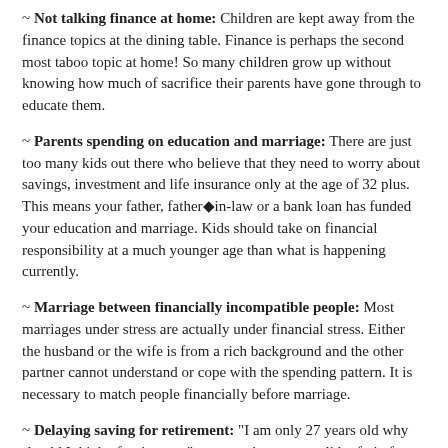~ Not talking finance at home: Children are kept away from the finance topics at the dining table. Finance is perhaps the second most taboo topic at home! So many children grow up without knowing how much of sacrifice their parents have gone through to educate them.
~ Parents spending on education and marriage: There are just too many kids out there who believe that they need to worry about savings, investment and life insurance only at the age of 32 plus. This means your father, father◆�in-law or a bank loan has funded your education and marriage. Kids should take on financial responsibility at a much younger age than what is happening currently.
~ Marriage between financially incompatible people: Most marriages under stress are actually under financial stress. Either the husband or the wife is from a rich background and the other partner cannot understand or cope with the spending pattern. It is necessary to match people financially before marriage.
~ Delaying saving for retirement: "I am only 27 years old why should I think of retirement" seems to be a very valid refrain for many 32 year olds! Every year that you delay in investing the greater the